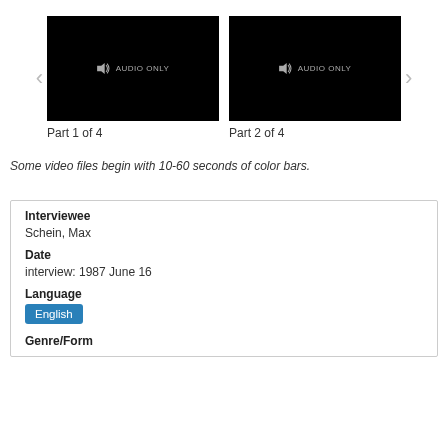[Figure (screenshot): Two video thumbnails showing 'AUDIO ONLY' with speaker icons on black backgrounds. Left thumbnail labeled 'Part 1 of 4', right labeled 'Part 2 of 4'. Navigation arrows on left and right sides.]
Some video files begin with 10-60 seconds of color bars.
| Interviewee | Schein, Max |
| Date | interview:  1987 June 16 |
| Language | English |
| Genre/Form |  |